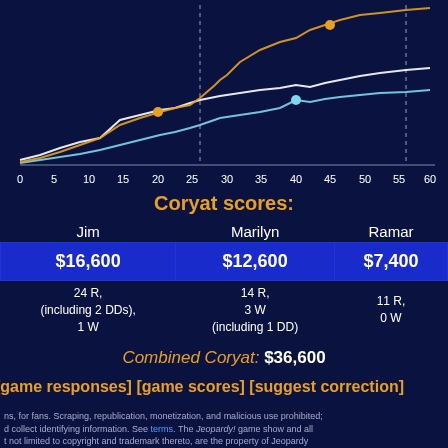[Figure (line-chart): Line chart showing cumulative score progression for three Jeopardy contestants (Jim, Marilyn, Ramar) over ~60 clues. Orange line (Jim) reaches highest, white line (Marilyn) in middle, light blue line (Ramar) lower. Colored dots mark specific points. Dashed vertical lines at x=30 and x=60.]
Coryat scores:
| Jim | Marilyn | Ramar |
| --- | --- | --- |
| $16,600 | $12,600 | $7,400 |
| 24 R, (including 2 DDs), 1 W | 14 R, 3 W (including 1 DD) | 11 R, 0 W |
Combined Coryat: $36,600
[game responses] [game scores] [suggest correction]
ns, for fans. Scraping, republication, monetization, and malicious use prohibited; d collect identifying information. See terms. The Jeopardy! game show and all t not limited to copyright and trademark thereto, are the property of Jeopardy ected under law. This website is not affiliated with, sponsored by, or operated by n the discussion at JBoard.tv.